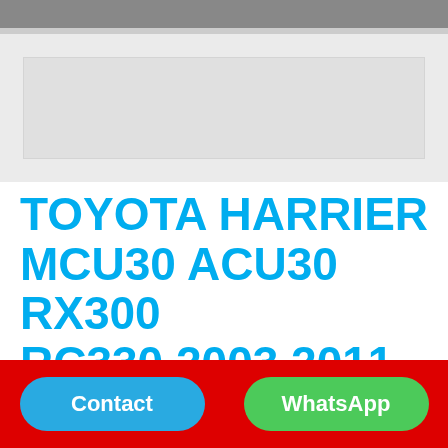[Figure (photo): Gray navigation/header bar at the top of a mobile product listing page, with a lighter gray image placeholder area below showing a blurred thumbnail region]
TOYOTA HARRIER MCU30 ACU30 RX300 RC330 2003 2011 SEMI LEATHER SEAT COVER
Seat
Contact   WhatsApp